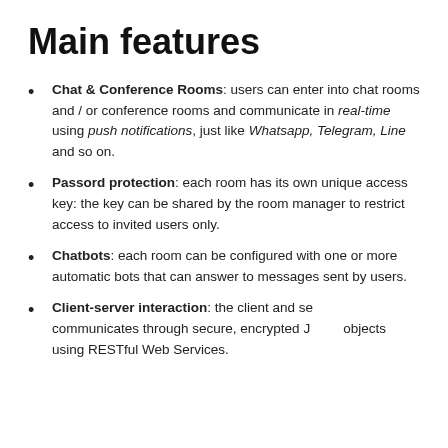Main features
Chat & Conference Rooms: users can enter into chat rooms and / or conference rooms and communicate in real-time using push notifications, just like Whatsapp, Telegram, Line and so on.
Passord protection: each room has its own unique access key: the key can be shared by the room manager to restrict access to invited users only.
Chatbots: each room can be configured with one or more automatic bots that can answer to messages sent by users.
Client-server interaction: the client and server communicates through secure, encrypted JSON objects using RESTful Web Services.